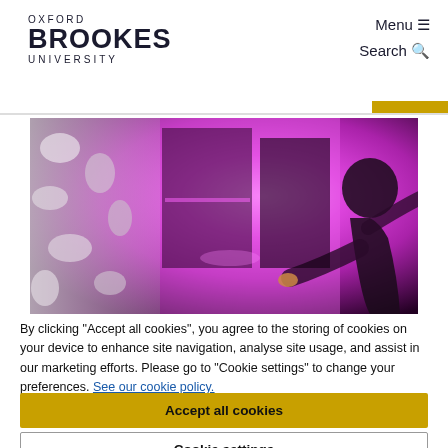OXFORD BROOKES UNIVERSITY | Menu | Search
[Figure (photo): Person photographing or interacting with a display screen illuminated in purple/magenta light, with a blurred floral or textured element on the left side]
By clicking "Accept all cookies", you agree to the storing of cookies on your device to enhance site navigation, analyse site usage, and assist in our marketing efforts. Please go to "Cookie settings" to change your preferences. See our cookie policy.
Accept all cookies
Cookie settings